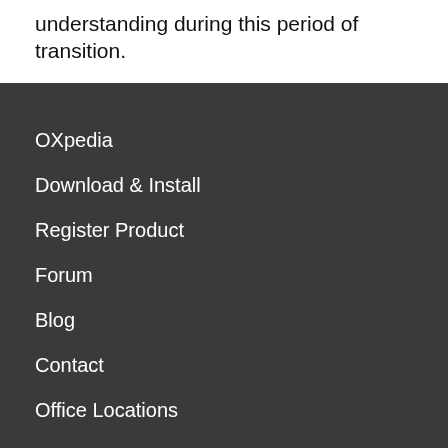understanding during this period of transition.
OXpedia
Download & Install
Register Product
Forum
Blog
Contact
Office Locations